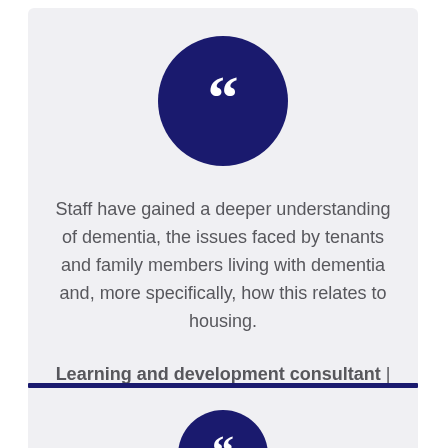[Figure (illustration): Dark navy blue circle with large white open quotation marks (““) centered inside]
Staff have gained a deeper understanding of dementia, the issues faced by tenants and family members living with dementia and, more specifically, how this relates to housing.
Learning and development consultant | Link Group Ltd.
[Figure (illustration): Partially visible dark navy blue circle with white quotation marks, cut off at the bottom of the page]